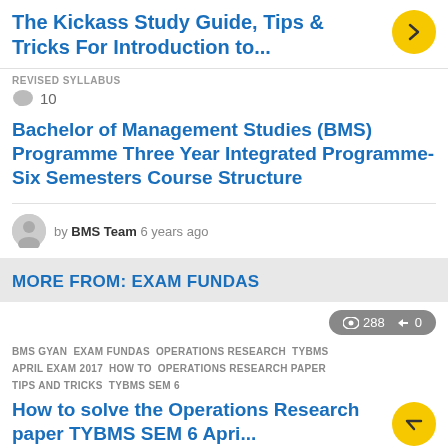The Kickass Study Guide, Tips & Tricks For Introduction to...
REVISED SYLLABUS
10
Bachelor of Management Studies (BMS) Programme Three Year Integrated Programme-Six Semesters Course Structure
by BMS Team 6 years ago
MORE FROM: EXAM FUNDAS
288  0
BMS GYAN  EXAM FUNDAS  OPERATIONS RESEARCH  TYBMS  APRIL EXAM 2017  HOW TO  OPERATIONS RESEARCH PAPER  TIPS AND TRICKS  TYBMS SEM 6
How to solve the Operations Research paper TYBMS SEM 6 April Exam 2017: Tips and Tricks